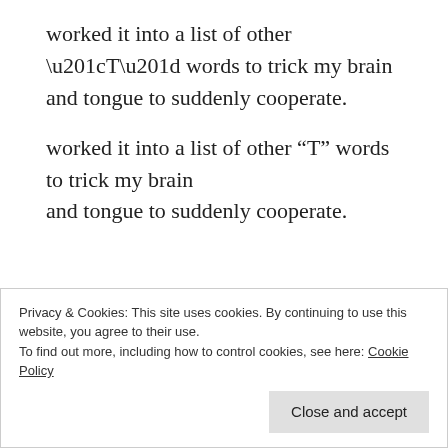worked it into a list of other “T” words to trick my brain and tongue to suddenly cooperate.
“Say ‘tea,’ ‘toy,’ ‘top,’ ‘Tippi.”
I would respond with “‘Tea!’ ‘Toy!’ ‘Top!’ ‘Pippi!”
The way he reacted with exasperation and laughter probably made me think it was a fun game. That and my
Privacy & Cookies: This site uses cookies. By continuing to use this website, you agree to their use.
To find out more, including how to control cookies, see here: Cookie Policy
our black couch, coffee table or red-tiled floor, always